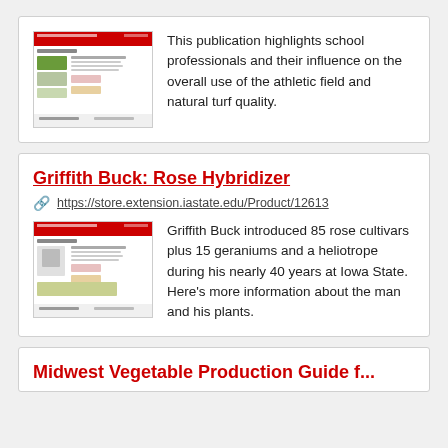[Figure (screenshot): Thumbnail screenshot of an ISU Extension publication page with red header]
This publication highlights school professionals and their influence on the overall use of the athletic field and natural turf quality.
Griffith Buck: Rose Hybridizer
https://store.extension.iastate.edu/Product/12613
[Figure (screenshot): Thumbnail screenshot of an ISU Extension publication page with red header]
Griffith Buck introduced 85 rose cultivars plus 15 geraniums and a heliotrope during his nearly 40 years at Iowa State. Here's more information about the man and his plants.
Midwest Vegetable Production Guide f...